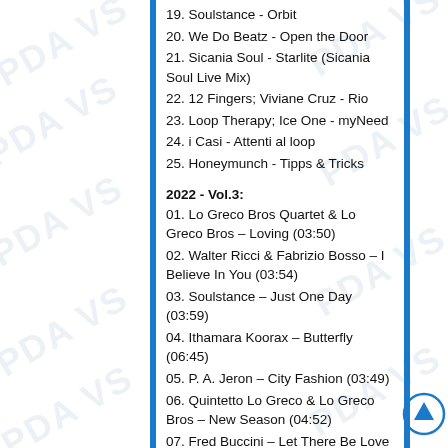19. Soulstance - Orbit
20. We Do Beatz - Open the Door
21. Sicania Soul - Starlite (Sicania Soul Live Mix)
22. 12 Fingers; Viviane Cruz - Rio
23. Loop Therapy; Ice One - myNeed
24. i Casi - Attenti al loop
25. Honeymunch - Tipps & Tricks
2022 - Vol.3:
01. Lo Greco Bros Quartet & Lo Greco Bros – Loving (03:50)
02. Walter Ricci & Fabrizio Bosso – I Believe In You (03:54)
03. Soulstance – Just One Day (03:59)
04. Ithamara Koorax – Butterfly (06:45)
05. P. A. Jeron – City Fashion (03:49)
06. Quintetto Lo Greco & Lo Greco Bros – New Season (04:52)
07. Fred Buccini – Let There Be Love (02:59)
08. Paolo Sessa & Polose – White Paper (03:54)
09. Franca Barone – The One And Only Right Thing To Do (02:07)
10. Vito Lalinga (Vi Mode Inc Project) – Jazz Club (03:41)
11. Soulstance & Ana Flora – Chega De Saudade